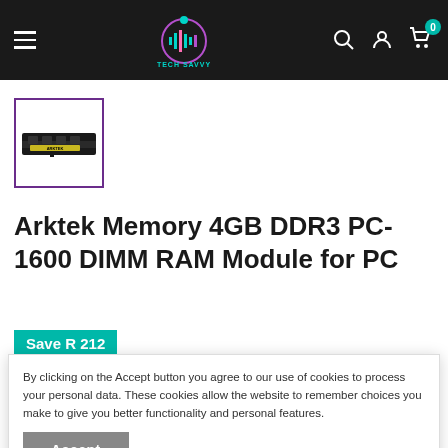Tech Savvy — navigation header
[Figure (photo): Thumbnail of Arktek 4GB DDR3 RAM module in purple-bordered box]
Arktek Memory 4GB DDR3 PC-1600 DIMM RAM Module for PC
Save R 212
By clicking on the Accept button you agree to our use of cookies to process your personal data. These cookies allow the website to remember choices you make to give you better functionality and personal features.
Price: R 349  R 561